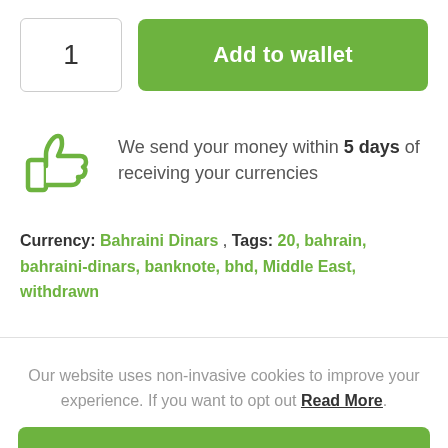1
Add to wallet
We send your money within 5 days of receiving your currencies
Currency: Bahraini Dinars , Tags: 20, bahrain, bahraini-dinars, banknote, bhd, Middle East, withdrawn
Our website uses non-invasive cookies to improve your experience. If you want to opt out Read More.
Accept